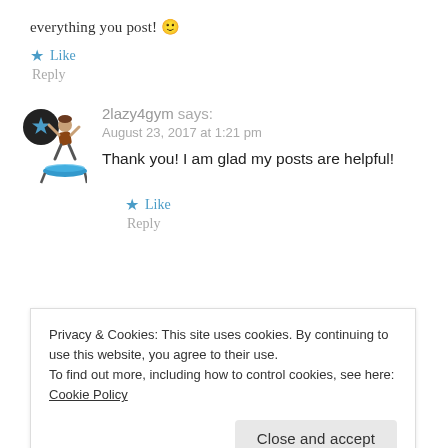everything you post! 🙂
★ Like
Reply
2lazy4gym says: August 23, 2017 at 1:21 pm
Thank you! I am glad my posts are helpful!
★ Like
Reply
Privacy & Cookies: This site uses cookies. By continuing to use this website, you agree to their use.
To find out more, including how to control cookies, see here: Cookie Policy
Close and accept
through a lot of content, so if there's